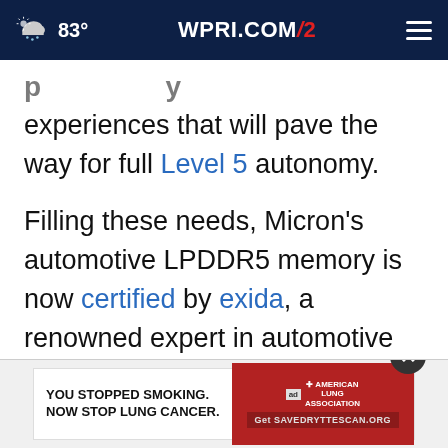83° WPRI.COM 12
experiences that will pave the way for full Level 5 autonomy.
Filling these needs, Micron's automotive LPDDR5 memory is now certified by exida, a renowned expert in automotive safety, for the most stringent safety integrity level, ASIL D, under ISO 26262. LPDDR5's high performance, power efficiency and low latency also provide the headroom to keep pace with rising band...
[Figure (other): Advertisement banner: YOU STOPPED SMOKING. NOW STOP LUNG CANCER. American Lung Association. Get SAVEDRYTTESCAN.ORG]